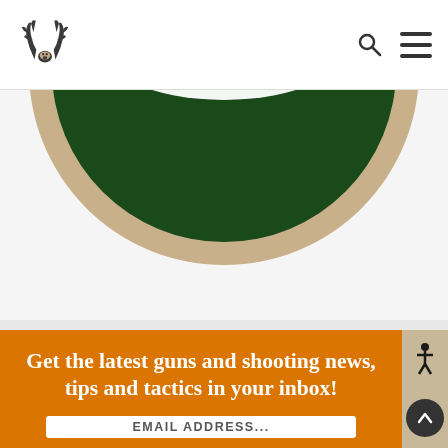Realtree navigation bar with logo, search icon, and hamburger menu
[Figure (illustration): Partial circular badge or logo element — dark green circle with tan/beige border, cropped at top]
Get the latest guns and shooting news, tips and tactics in your inbox!
EMAIL ADDRESS...